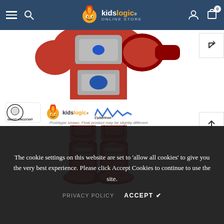kidslogic ONLINE STORE — navigation bar with hamburger, search, logo, user, and cart (0) icons
[Figure (photo): Close-up of a Hulkbuster Iron Man action figure (Beast Kingdom / Kidslogic product) showing the lower body — metallic red and silver armor legs on white background. Brand logos visible at bottom: Beast Kingdom, kidslogic, Cybertron. Disclaimer text: 'Prototype shown. Final product may be slightly different']
The cookie settings on this website are set to 'allow all cookies' to give you the very best experience. Please click Accept Cookies to continue to use the site.
PRIVACY POLICY   ACCEPT ✔